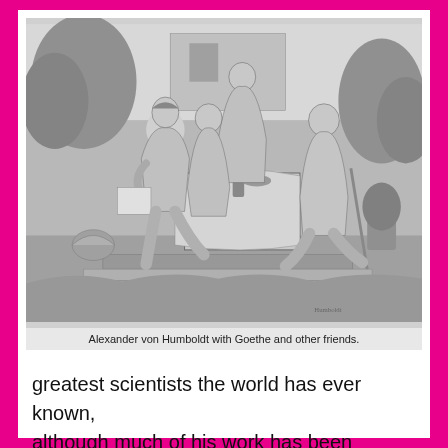[Figure (illustration): A black and white engraving depicting Alexander von Humboldt seated outdoors with Goethe and other friends around a table in a garden setting.]
Alexander von Humboldt with Goethe and other friends.
greatest scientists the world has ever known, although much of his work has been forgotten.